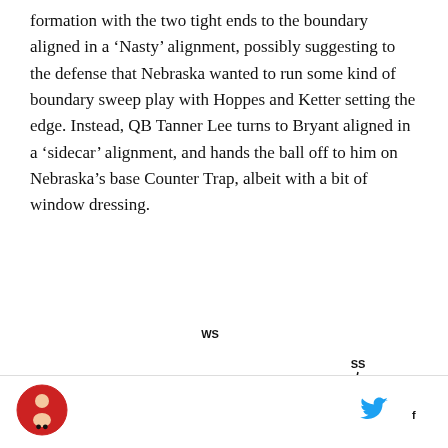formation with the two tight ends to the boundary aligned in a 'Nasty' alignment, possibly suggesting to the defense that Nebraska wanted to run some kind of boundary sweep play with Hoppes and Ketter setting the edge. Instead, QB Tanner Lee turns to Bryant aligned in a 'sidecar' alignment, and hands the ball off to him on Nebraska's base Counter Trap, albeit with a bit of window dressing.
[Figure (schematic): Football play diagram showing offensive and defensive formations with player position labels: WS, SS, C, M, W, C, S, E, N, E, B, and movement arrows indicating the Counter Trap play.]
[Figure (logo): Circular red logo with illustrated figure, site branding logo in footer]
[Figure (logo): Twitter bird icon in footer]
[Figure (logo): Facebook f icon in footer]